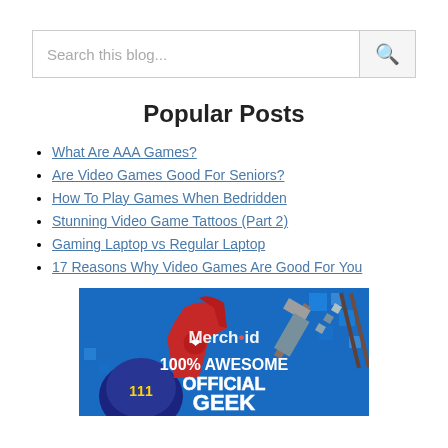Search this blog...
Popular Posts
What Are AAA Games?
Are Video Games Good For Seniors?
How To Play Games When Bedridden
Stunning Video Game Tattoos (Part 2)
Gaming Laptop vs Regular Laptop
17 Reasons Why Video Games Are Good For You
[Figure (photo): Merchoid banner advertisement showing gaming merchandise with text '100% AWESOME OFFICIAL GEEK' and items including a cap, hoodie, and Minecraft sword]